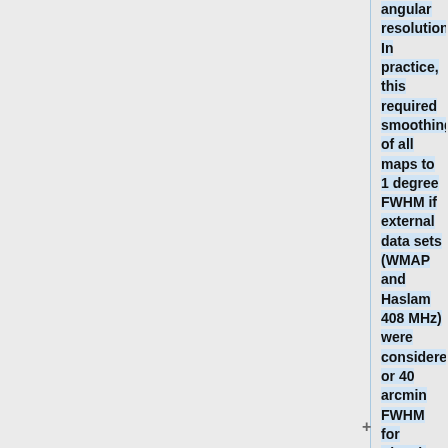angular resolution. In practice, this required smoothing of all maps to 1 degree FWHM if external data sets (WMAP and Haslam 408 MHz) were considered, or 40 arcmin FWHM for Planck alone. Higher resolution could only be achieved by omitting lower frequencies from the fit. Either approach